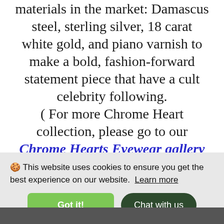materials in the market: Damascus steel, sterling silver, 18 carat white gold, and piano varnish to make a bold, fashion-forward statement piece that have a cult celebrity following. ( For more Chrome Heart collection, please go to our Chrome Hearts Eyewear gallery webpage )
🍪 This website uses cookies to ensure you get the best experience on our website. Learn more
Got it!
Chat with us
[Figure (photo): Partial bottom image strip showing dark content, cropped at page bottom]